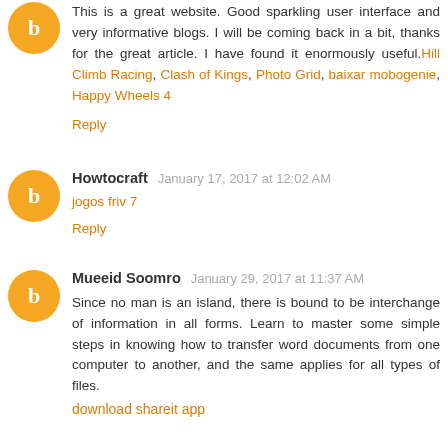This is a great website. Good sparkling user interface and very informative blogs. I will be coming back in a bit, thanks for the great article. I have found it enormously useful. Hill Climb Racing, Clash of Kings, Photo Grid, baixar mobogenie, Happy Wheels 4
Reply
Howtocraft  January 17, 2017 at 12:02 AM
jogos friv 7
Reply
Mueeid Soomro  January 29, 2017 at 11:37 AM
Since no man is an island, there is bound to be interchange of information in all forms. Learn to master some simple steps in knowing how to transfer word documents from one computer to another, and the same applies for all types of files.
download shareit app